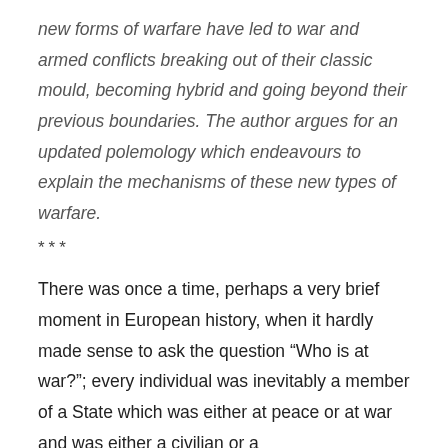new forms of warfare have led to war and armed conflicts breaking out of their classic mould, becoming hybrid and going beyond their previous boundaries. The author argues for an updated polemology which endeavours to explain the mechanisms of these new types of warfare.
***
There was once a time, perhaps a very brief moment in European history, when it hardly made sense to ask the question “Who is at war?”; every individual was inevitably a member of a State which was either at peace or at war and was either a civilian or a